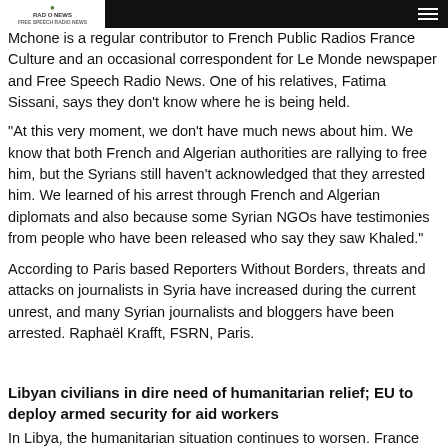RADIO NEWS — [logo/header bar]
Mchone is a regular contributor to French Public Radios France Culture and an occasional correspondent for Le Monde newspaper and Free Speech Radio News. One of his relatives, Fatima Sissani, says they don't know where he is being held.
"At this very moment, we don't have much news about him. We know that both French and Algerian authorities are rallying to free him, but the Syrians still haven't acknowledged that they arrested him. We learned of his arrest through French and Algerian diplomats and also because some Syrian NGOs have testimonies from people who have been released who say they saw Khaled."
According to Paris based Reporters Without Borders, threats and attacks on journalists in Syria have increased during the current unrest, and many Syrian journalists and bloggers have been arrested. Raphaël Krafft, FSRN, Paris.
Libyan civilians in dire need of humanitarian relief; EU to deploy armed security for aid workers
In Libya, the humanitarian situation continues to worsen. France has disciplined...